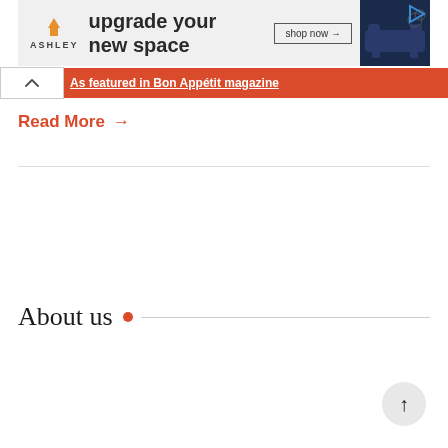[Figure (screenshot): Ashley Furniture advertisement banner showing logo, 'upgrade your new space' text, 'shop now' button, and sofa image on dark blue background]
As featured in Bon Appétit magazine
Read More →
About us
[Figure (other): Scroll-to-top button with upward arrow]